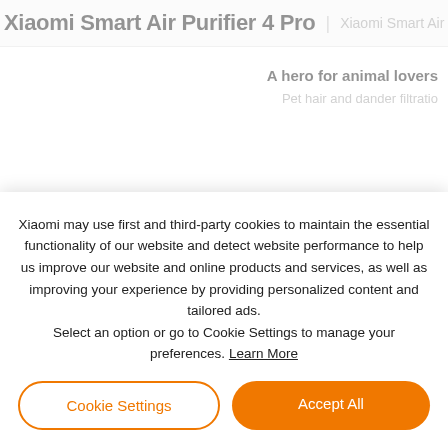Xiaomi Smart Air Purifier 4 Pro | Xiaomi Smart Air
A hero for animal lovers
Pet hair and dander filtratio
Xiaomi may use first and third-party cookies to maintain the essential functionality of our website and detect website performance to help us improve our website and online products and services, as well as improving your experience by providing personalized content and tailored ads. Select an option or go to Cookie Settings to manage your preferences. Learn More
Cookie Settings
Accept All